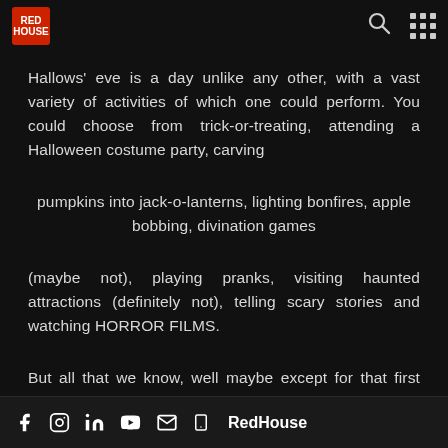RedHouse logo, search icon, grid icon
Hallows' eve is a day unlike any other, with a vast variety of activities of which one could perform. You could choose from trick-or-treating, attending a Halloween costume party, carving
pumpkins into jack-o-lanterns, lighting bonfires, apple bobbing, divination games
(maybe not), playing pranks, visiting haunted attractions (definitely not), telling scary stories and watching HORROR FILMS.
But all that we know, well maybe except for that first part about it being holy. Anyway, let us get into its
f Instagram in YouTube email phone RedHouse